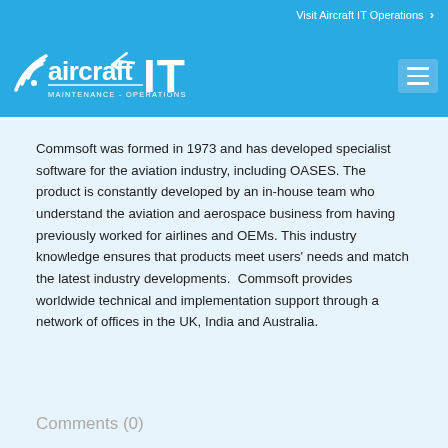Visit Aircraft IT Operations ›
[Figure (logo): Aircraft IT Maintenance - Operations logo with airplane icon and wifi signal graphic in white on blue background]
Commsoft was formed in 1973 and has developed specialist software for the aviation industry, including OASES. The product is constantly developed by an in-house team who understand the aviation and aerospace business from having previously worked for airlines and OEMs. This industry knowledge ensures that products meet users' needs and match the latest industry developments.  Commsoft provides worldwide technical and implementation support through a network of offices in the UK, India and Australia.
Comments (0)